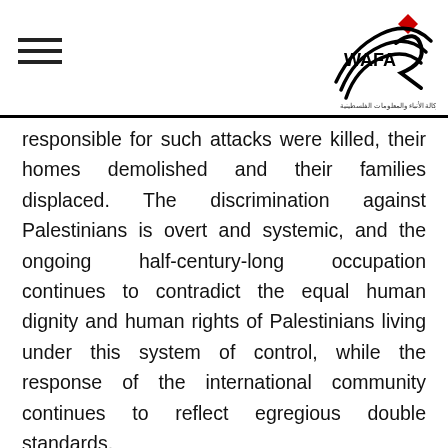WAFA logo and hamburger menu
responsible for such attacks were killed, their homes demolished and their families displaced. The discrimination against Palestinians is overt and systemic, and the ongoing half-century-long occupation continues to contradict the equal human dignity and human rights of Palestinians living under this system of control, while the response of the international community continues to reflect egregious double standards.
Meanwhile in the occupied West Bank and East Jerusalem, including in Sheikh Jarrah, Khan Al-Khalil and elsewhere, many Palestinian communities continue to be threatened with forced